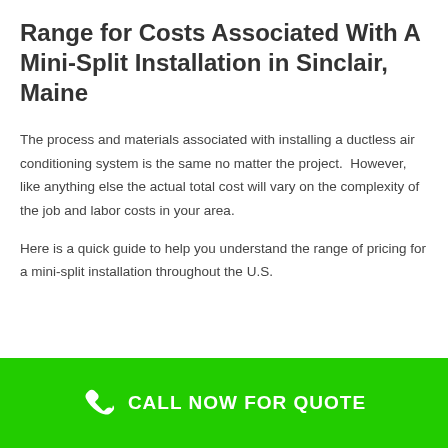Range for Costs Associated With A Mini-Split Installation in Sinclair, Maine
The process and materials associated with installing a ductless air conditioning system is the same no matter the project.  However, like anything else the actual total cost will vary on the complexity of the job and labor costs in your area.
Here is a quick guide to help you understand the range of pricing for a mini-split installation throughout the U.S.
CALL NOW FOR QUOTE